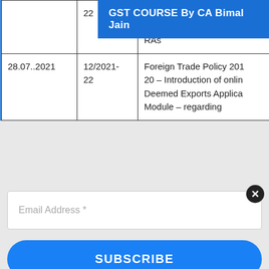GST COURSE By CA Bimal Jain
| Date | Circular No. | Subject |
| --- | --- | --- |
|  | 22 | which ROSCTL comp has been claimed from DGFT RAs |
| 28.07..2021 | 12/2021-22 | Foreign Trade Policy 2010 – Introduction of onlin Deemed Exports Applica Module – regarding |
Email Address *
SUBSCRIBE